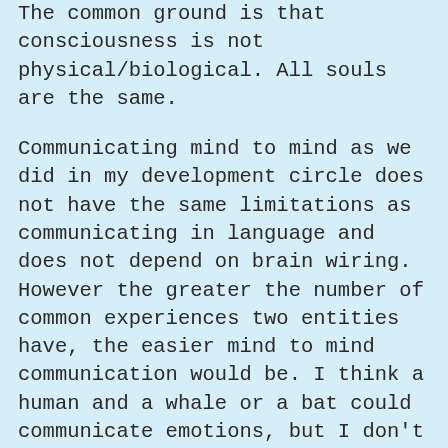The common ground is that consciousness is not physical/biological. All souls are the same.
Communicating mind to mind as we did in my development circle does not have the same limitations as communicating in language and does not depend on brain wiring. However the greater the number of common experiences two entities have, the easier mind to mind communication would be. I think a human and a whale or a bat could communicate emotions, but I don't know if an entity that creates spatial maps with sonar could communicate spatial information with an entity that uses vision to create spatial maps. It might work, I don't know. I have communicated with spirits of humans, dogs, and a bird